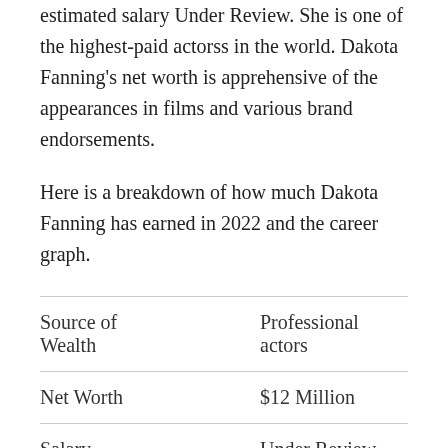estimated salary Under Review. She is one of the highest-paid actorss in the world. Dakota Fanning's net worth is apprehensive of the appearances in films and various brand endorsements.
Here is a breakdown of how much Dakota Fanning has earned in 2022 and the career graph.
| Source of Wealth | Professional actors |
| Net Worth | $12 Million |
| Salary | Under Review |
|  | Critics' Choice Movie Award for |